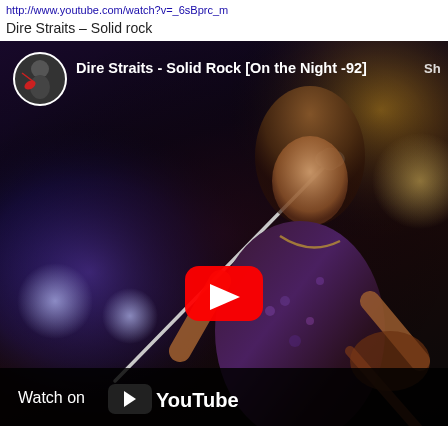http://www.youtube.com/watch?v=...
Dire Straits – Solid rock
[Figure (screenshot): YouTube video thumbnail/embed showing Dire Straits - Solid Rock [On the Night -92] concert performance. A performer is singing into a microphone on stage with blue/purple concert lighting. A red YouTube play button is centered on the image. Bottom bar shows 'Watch on YouTube' branding. Channel thumbnail in upper left corner.]